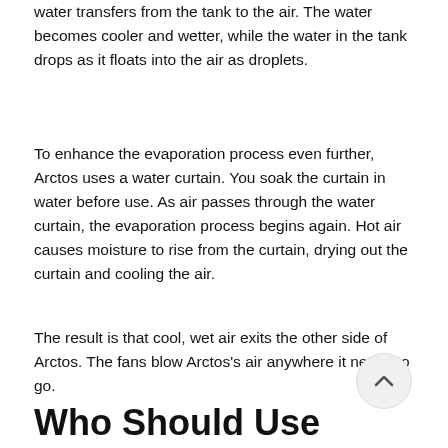water transfers from the tank to the air. The water becomes cooler and wetter, while the water in the tank drops as it floats into the air as droplets.
To enhance the evaporation process even further, Arctos uses a water curtain. You soak the curtain in water before use. As air passes through the water curtain, the evaporation process begins again. Hot air causes moisture to rise from the curtain, drying out the curtain and cooling the air.
The result is that cool, wet air exits the other side of Arctos. The fans blow Arctos's air anywhere it needs to go.
Who Should Use